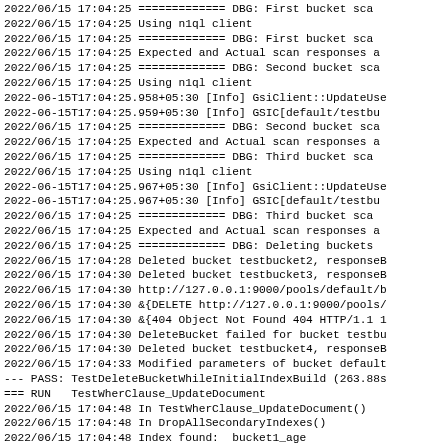2022/06/15 17:04:25 ============= DBG: First bucket sca
2022/06/15 17:04:25 Using n1ql client
2022/06/15 17:04:25 ============= DBG: First bucket sca
2022/06/15 17:04:25 Expected and Actual scan responses a
2022/06/15 17:04:25 ============= DBG: Second bucket sca
2022/06/15 17:04:25 Using n1ql client
2022-06-15T17:04:25.958+05:30 [Info] GsiClient::UpdateUse
2022-06-15T17:04:25.959+05:30 [Info] GSIC[default/testbu
2022/06/15 17:04:25 ============= DBG: Second bucket sca
2022/06/15 17:04:25 Expected and Actual scan responses a
2022/06/15 17:04:25 ============= DBG: Third bucket sca
2022/06/15 17:04:25 Using n1ql client
2022-06-15T17:04:25.967+05:30 [Info] GsiClient::UpdateUse
2022-06-15T17:04:25.967+05:30 [Info] GSIC[default/testbu
2022/06/15 17:04:25 ============= DBG: Third bucket sca
2022/06/15 17:04:25 Expected and Actual scan responses a
2022/06/15 17:04:25 ============= DBG: Deleting buckets
2022/06/15 17:04:28 Deleted bucket testbucket2, responseB
2022/06/15 17:04:30 Deleted bucket testbucket3, responseB
2022/06/15 17:04:30 http://127.0.0.1:9000/pools/default/b
2022/06/15 17:04:30 &{DELETE http://127.0.0.1:9000/pools/
2022/06/15 17:04:30 &{404 Object Not Found 404 HTTP/1.1 1
2022/06/15 17:04:30 DeleteBucket failed for bucket testbu
2022/06/15 17:04:30 Deleted bucket testbucket4, responseB
2022/06/15 17:04:33 Modified parameters of bucket default
--- PASS: TestDeleteBucketWhileInitialIndexBuild (263.88s
=== RUN   TestWherClause_UpdateDocument
2022/06/15 17:04:48 In TestWherClause_UpdateDocument()
2022/06/15 17:04:48 In DropAllSecondaryIndexes()
2022/06/15 17:04:48 Index found:  bucket1_age
2022/06/15 17:04:48 Dropped index bucket1_age